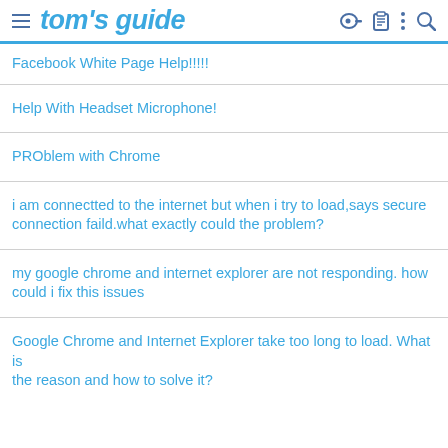tom's guide
Facebook White Page Help!!!!!
Help With Headset Microphone!
PROblem with Chrome
i am connectted to the internet but when i try to load,says secure connection faild.what exactly could the problem?
my google chrome and internet explorer are not responding. how could i fix this issues
Google Chrome and Internet Explorer take too long to load. What is the reason and how to solve it?